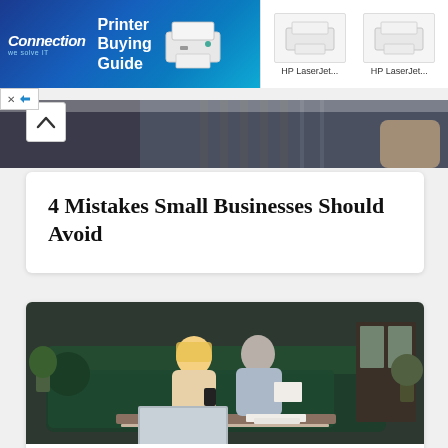[Figure (screenshot): Advertisement banner for Connection featuring a Printer Buying Guide with HP LaserJet printers on white/blue background]
[Figure (photo): Partial photo of a person in a striped shirt, cropped, dark background]
4 Mistakes Small Businesses Should Avoid
[Figure (photo): Older couple (woman with blonde hair in cream sweater, man with gray hair in light blue shirt) sitting on a dark green sofa looking at documents, with a laptop on the coffee table in front of them]
What is an Auto-IRA?